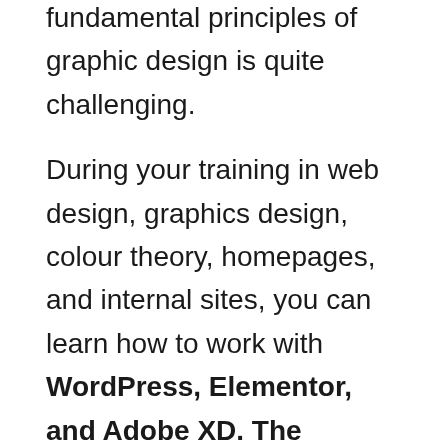fundamental principles of graphic design is quite challenging.
During your training in web design, graphics design, colour theory, homepages, and internal sites, you can learn how to work with WordPress, Elementor, and Adobe XD. The research on web design goes beyond the realistic approach to web design and implementation and the digital design activities of the website.
You will develop a portfolio of several websites during the web design course.